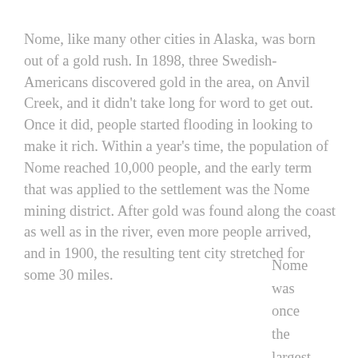Nome, like many other cities in Alaska, was born out of a gold rush. In 1898, three Swedish-Americans discovered gold in the area, on Anvil Creek, and it didn't take long for word to get out. Once it did, people started flooding in looking to make it rich. Within a year's time, the population of Nome reached 10,000 people, and the early term that was applied to the settlement was the Nome mining district. After gold was found along the coast as well as in the river, even more people arrived, and in 1900, the resulting tent city stretched for some 30 miles.
Nome was once the largest city in